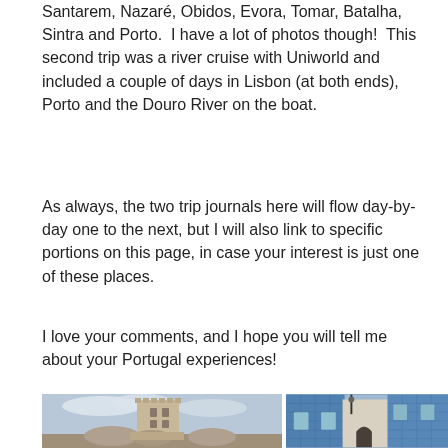Santarem, Nazaré, Obidos, Evora, Tomar, Batalha, Sintra and Porto.  I have a lot of photos though!  This second trip was a river cruise with Uniworld and included a couple of days in Lisbon (at both ends), Porto and the Douro River on the boat.
As always, the two trip journals here will flow day-by-day one to the next, but I will also link to specific portions on this page, in case your interest is just one of these places.
I love your comments, and I hope you will tell me about your Portugal experiences!
[Figure (photo): Photo of a medieval tower (likely Torre de Belém) with ornate Manueline architecture against a cloudy sky, with monastery domes visible in the foreground.]
[Figure (photo): Photo of a narrow street with blue azulejo tile-covered building facades in Portugal, showing an archway passage and traditional architecture.]